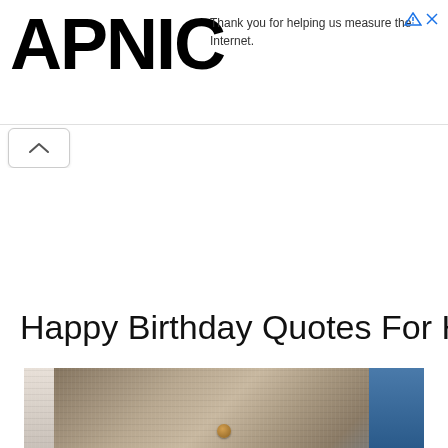APNIC — Thank you for helping us measure the Internet.
Happy Birthday Quotes For Him
[Figure (photo): A weathered wooden sign or plaque with metallic/aged texture, a copper rivet in the center, and a blue background on the right side. Appears to be the beginning of a decorative birthday-themed image.]